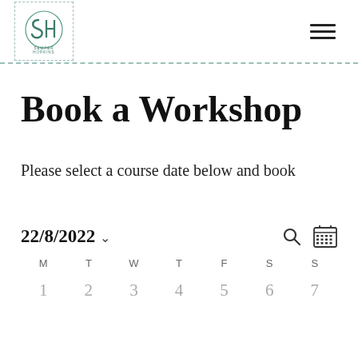[Figure (logo): Semper Hopkins logo with stylized SH letters and decorative circular emblem, inside a dashed border box]
Book a Workshop
Please select a course date below and book
22/8/2022
[Figure (other): Calendar widget showing month view for August 2022 with day headers M T W T F S S and dates 1-7 in first row]